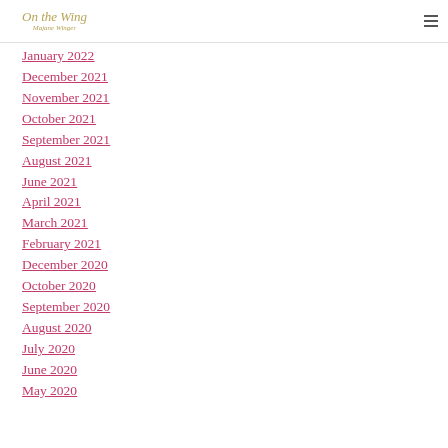On the Wing — Majane Winger
January 2022
December 2021
November 2021
October 2021
September 2021
August 2021
June 2021
April 2021
March 2021
February 2021
December 2020
October 2020
September 2020
August 2020
July 2020
June 2020
May 2020